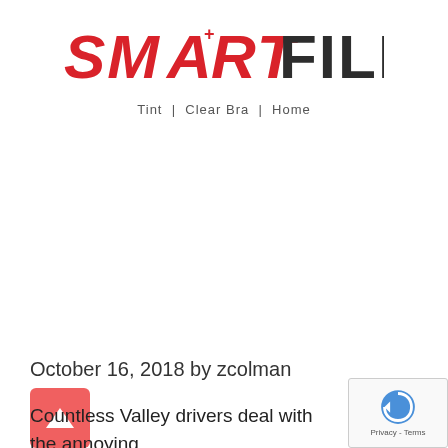[Figure (logo): SmartFilm logo with red italic text 'SMART' and dark 'FILM', tagline 'Tint | Clear Bra | Home']
October 16, 2018 by zcolman
Countless Valley drivers deal with the annoying and potentially dangerous problem of clouded headlights. Numerous drivers are unaware that...